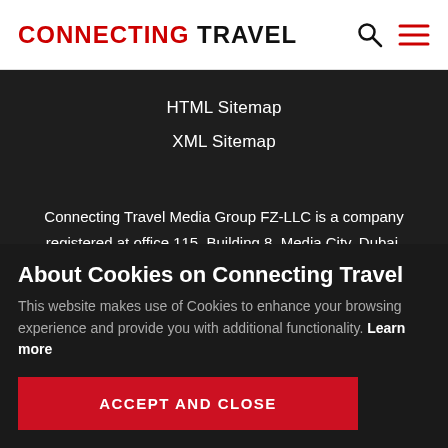CONNECTING TRAVEL
HTML Sitemap
XML Sitemap
Connecting Travel Media Group FZ-LLC is a company registered at office 115, Building 8, Media City, Dubai, UAE, with licence number 98449.
About Cookies on Connecting Travel
This website makes use of Cookies to enhance your browsing experience and provide you with additional functionality. Learn more
ACCEPT AND CLOSE